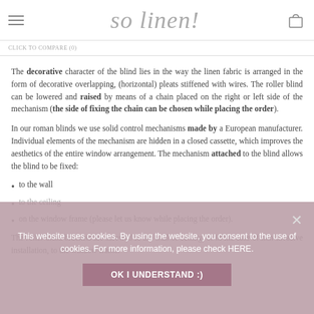so linen!
The decorative character of the blind lies in the way the linen fabric is arranged in the form of decorative overlapping, (horizontal) pleats stiffened with wires. The roller blind can be lowered and raised by means of a chain placed on the right or left side of the mechanism (the side of fixing the chain can be chosen while placing the order).
In our roman blinds we use solid control mechanisms made by a European manufacturer. Individual elements of the mechanism are hidden in a closed cassette, which improves the aesthetics of the entire window arrangement. The mechanism attached to the blind allows the blind to be fixed:
to the wall
to the ceiling
on the window frame (please let us know while placing the order).
The roller blind brackets are screwed to the wall or ceiling, or in the case of non-invasive installation, to the window frame.